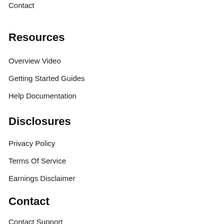Contact
Resources
Overview Video
Getting Started Guides
Help Documentation
Disclosures
Privacy Policy
Terms Of Service
Earnings Disclaimer
Contact
Contact Support
Schedule A Demo